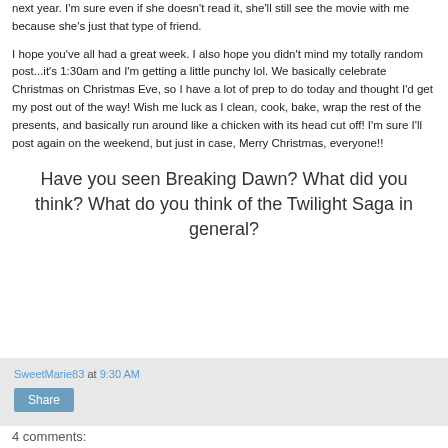next year. I'm sure even if she doesn't read it, she'll still see the movie with me because she's just that type of friend.
I hope you've all had a great week. I also hope you didn't mind my totally random post...it's 1:30am and I'm getting a little punchy lol. We basically celebrate Christmas on Christmas Eve, so I have a lot of prep to do today and thought I'd get my post out of the way! Wish me luck as I clean, cook, bake, wrap the rest of the presents, and basically run around like a chicken with its head cut off! I'm sure I'll post again on the weekend, but just in case, Merry Christmas, everyone!!
Have you seen Breaking Dawn? What did you think? What do you think of the Twilight Saga in general?
SweetMarie83 at 9:30 AM
Share
4 comments: